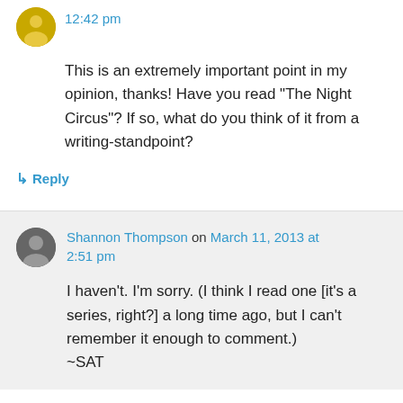12:42 pm
This is an extremely important point in my opinion, thanks! Have you read “The Night Circus”? If so, what do you think of it from a writing-standpoint?
↳ Reply
Shannon Thompson on March 11, 2013 at 2:51 pm
I haven't. I'm sorry. (I think I read one [it's a series, right?] a long time ago, but I can't remember it enough to comment.)
~SAT